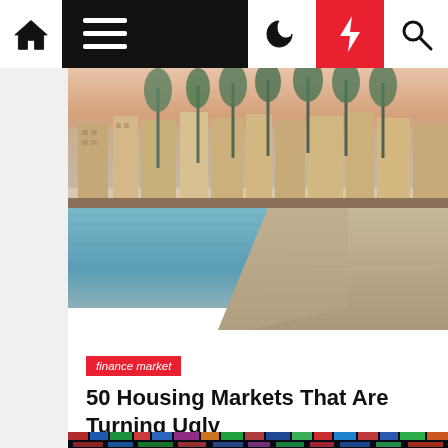Navigation bar with home, menu, moon, bolt, and search icons
[Figure (photo): Waterfront promenade with palm trees and historic buildings reflected in calm water, sandy shoreline in foreground]
finance market
50 Housing Markets That Are Turning Ugly
nayla good  ⏱ 2 years ago
[Figure (photo): Colorful financial stock market ticker board with rows of numbers and data]